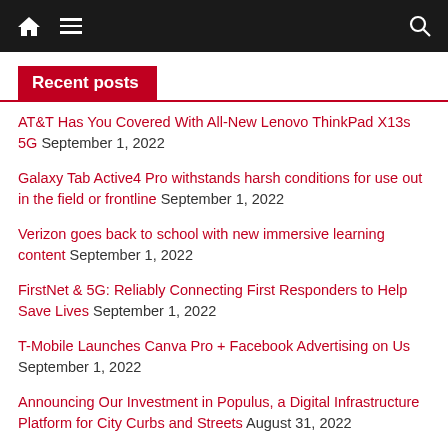Navigation bar with home, menu, and search icons
Recent posts
AT&T Has You Covered With All-New Lenovo ThinkPad X13s 5G September 1, 2022
Galaxy Tab Active4 Pro withstands harsh conditions for use out in the field or frontline September 1, 2022
Verizon goes back to school with new immersive learning content September 1, 2022
FirstNet & 5G: Reliably Connecting First Responders to Help Save Lives September 1, 2022
T-Mobile Launches Canva Pro + Facebook Advertising on Us September 1, 2022
Announcing Our Investment in Populus, a Digital Infrastructure Platform for City Curbs and Streets August 31, 2022
Samsung Electronics To Deliver Private 5G Network Solutions...